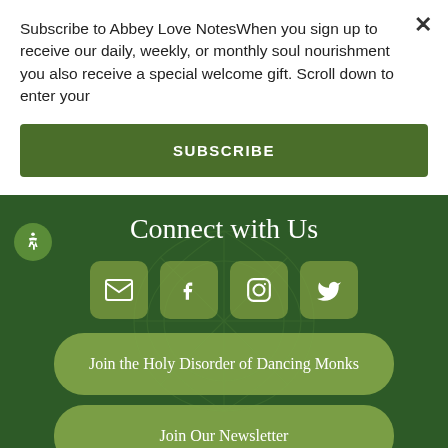Subscribe to Abbey Love NotesWhen you sign up to receive our daily, weekly, or monthly soul nourishment you also receive a special welcome gift. Scroll down to enter your
SUBSCRIBE
Connect with Us
[Figure (infographic): Social media icons: email (envelope), Facebook, Instagram, Twitter in olive-green rounded square buttons]
Join the Holy Disorder of Dancing Monks
Join Our Newsletter